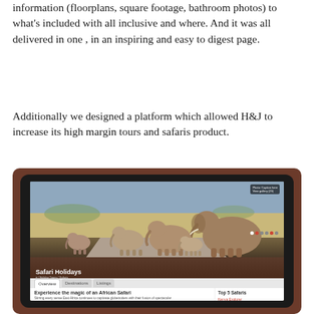information (floorplans, square footage, bathroom photos) to what's included with all inclusive and where. And it was all delivered in one , in an inspiring and easy to digest page.
Additionally we designed a platform which allowed H&J to increase its high margin tours and safaris product.
[Figure (screenshot): A tablet device showing a website screenshot of a 'Safari Holidays' page. The screen displays a hero image of elephants walking on a road, a page title 'Safari Holidays', navigation tabs (Overview, Destinations, Listings), and content about 'Experience the magic of an African Safari' on the left with a 'Top 5 Safaris' list on the right. The tablet is set against a brown/terracotta background.]